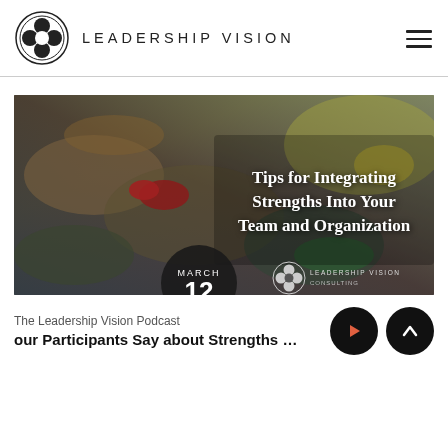[Figure (logo): Leadership Vision logo: circular emblem with four-leaf/clover shape inside double ring, followed by brand name LEADERSHIP VISION in spaced caps]
[Figure (photo): Hero image: colorful paint or mixed media texture (dark blue, green, yellow, red) with overlaid white text 'Tips for Integrating Strengths Into Your Team and Organization', March 12 date badge (dark circle), and Leadership Vision Consulting logo badge at bottom]
The Leadership Vision Podcast
our Participants Say about Strengths Commur